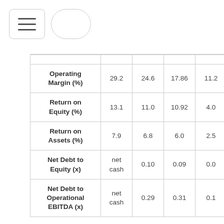[Figure (other): Hamburger menu button and search/pill UI element in page header]
|  |  |  |  |  |
| --- | --- | --- | --- | --- |
| Operating Margin (%) | 29.2 | 24.6 | 17.86 | 11.2 |
| Return on Equity (%) | 13.1 | 11.0 | 10.92 | 4.0 |
| Return on Assets (%) | 7.9 | 6.8 | 6.0 | 2.5 |
| Net Debt to Equity (x) | net cash | 0.10 | 0.09 | 0.0 |
| Net Debt to Operational EBITDA (x) | net cash | 0.29 | 0.31 | 0.1 |